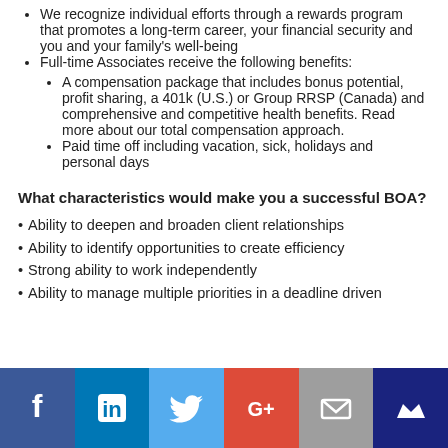We recognize individual efforts through a rewards program that promotes a long-term career, your financial security and you and your family's well-being
Full-time Associates receive the following benefits:
A compensation package that includes bonus potential, profit sharing, a 401k (U.S.) or Group RRSP (Canada) and comprehensive and competitive health benefits. Read more about our total compensation approach.
Paid time off including vacation, sick, holidays and personal days
What characteristics would make you a successful BOA?
Ability to deepen and broaden client relationships
Ability to identify opportunities to create efficiency
Strong ability to work independently
Ability to manage multiple priorities in a deadline driven
[Figure (infographic): Social media sharing icons: Facebook, LinkedIn, Twitter, Google+, Email, and a crown/bookmark icon on colored backgrounds]